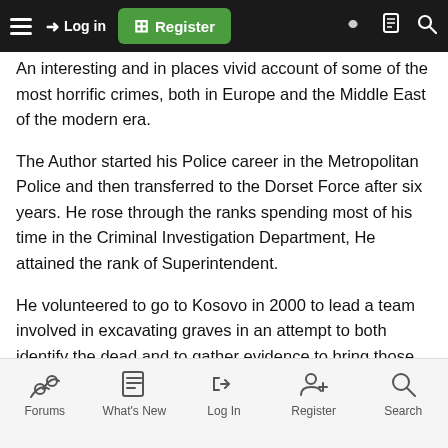Navigation bar with hamburger menu, Log in, Register, and icons
An interesting and in places vivid account of some of the most horrific crimes, both in Europe and the Middle East of the modern era.
The Author started his Police career in the Metropolitan Police and then transferred to the Dorset Force after six years. He rose through the ranks spending most of his time in the Criminal Investigation Department, He attained the rank of Superintendent.
He volunteered to go to Kosovo in 2000 to lead a team involved in excavating graves in an attempt to both identify the dead and to gather evidence to bring those responsible to face the courts. All to often these dreadful acts had been carried out by local Serb. Police Officers. One method used to try and identify the dead in the first instance was to put the clothes of the dead on
Forums  What's New  Log In  Register  Search